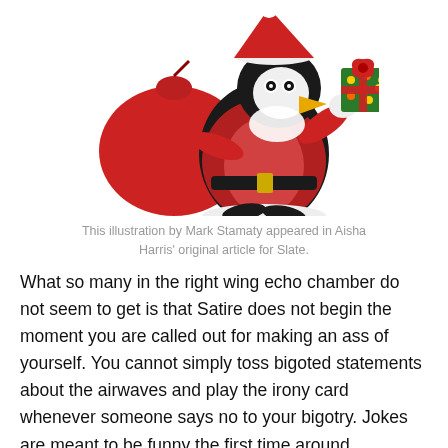[Figure (illustration): A cartoon penguin dressed as Santa Claus, wearing a red suit with white trim, a Santa hat, and holding a wrapped green gift box with a red bow. The penguin also has a large red sack of gifts behind it. The penguin has a white belly, black body, and a yellow beak.]
This illustration by Mark Stamaty appeared in Aisha Harris' original article for Slate.
What so many in the right wing echo chamber do not seem to get is that Satire does not begin the moment you are called out for making an ass of yourself. You cannot simply toss bigoted statements about the airwaves and play the irony card whenever someone says no to your bigotry. Jokes are meant to be funny the first time around